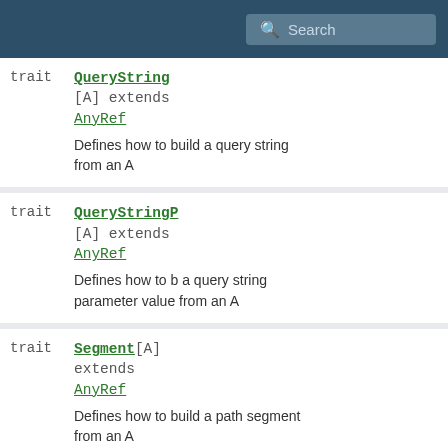Search
trait QueryString [A] extends AnyRef
Defines how to build a query string from an A
trait QueryStringP [A] extends AnyRef
Defines how to build a query string parameter value from an A
trait Segment [A] extends AnyRef
Defines how to build a path segment from an A